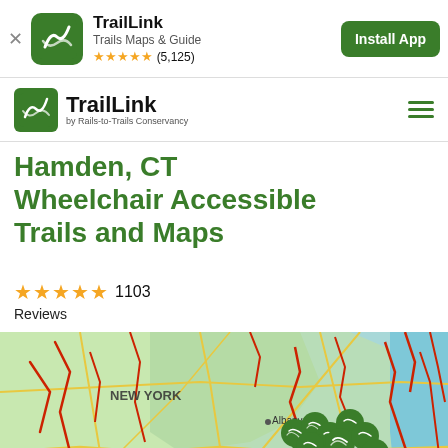TrailLink – Trails Maps & Guide — ★★★★★ (5,125) — Install App
TrailLink by Rails-to-Trails Conservancy
Hamden, CT Wheelchair Accessible Trails and Maps
★★★★★ 1103 Reviews
[Figure (map): Map showing northeastern US (New York, Massachusetts/Connecticut/Rhode Island area) with red trail overlays and green TrailLink map pins clustered around the Connecticut/southern New England region. Albany label visible. Cities Providence and others labeled.]